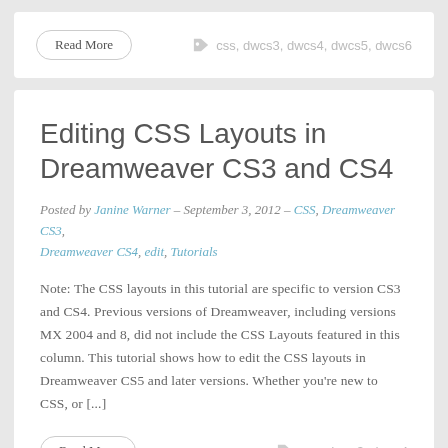Read More
css, dwcs3, dwcs4, dwcs5, dwcs6
Editing CSS Layouts in Dreamweaver CS3 and CS4
Posted by Janine Warner – September 3, 2012 – CSS, Dreamweaver CS3, Dreamweaver CS4, edit, Tutorials
Note: The CSS layouts in this tutorial are specific to version CS3 and CS4. Previous versions of Dreamweaver, including versions MX 2004 and 8, did not include the CSS Layouts featured in this column. This tutorial shows how to edit the CSS layouts in Dreamweaver CS5 and later versions. Whether you're new to CSS, or [...]
Read More
css, dwcs3, dwcs4
Comparing CSS Selectors in Dreamweaver 8 and CS2